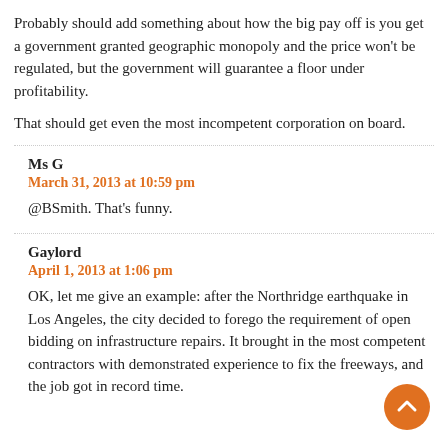Probably should add something about how the big pay off is you get a government granted geographic monopoly and the price won't be regulated, but the government will guarantee a floor under profitability.
That should get even the most incompetent corporation on board.
Ms G
March 31, 2013 at 10:59 pm
@BSmith. That's funny.
Gaylord
April 1, 2013 at 1:06 pm
OK, let me give an example: after the Northridge earthquake in Los Angeles, the city decided to forego the requirement of open bidding on infrastructure repairs. It brought in the most competent contractors with demonstrated experience to fix the freeways, and the job got in record time.